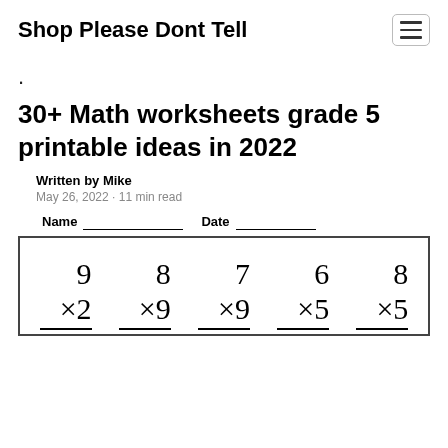Shop Please Dont Tell
.
30+ Math worksheets grade 5 printable ideas in 2022
Written by Mike
May 26, 2022 · 11 min read
[Figure (other): Math worksheet showing multiplication problems: 9×2, 8×9, 7×9, 6×5, 8×5 with Name and Date fields at the top]